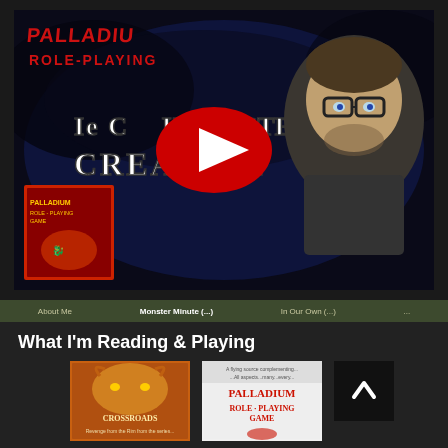[Figure (screenshot): YouTube video thumbnail for 'Palladium Role-Playing 1e Character Creation' showing a man with glasses on a dark blue background with text 'Ie Character Creation' and a red YouTube play button. A book cover for 'The Palladium Role-Playing Game' is visible in the lower left.]
About Me   Monster Minute (...)   In Our Own (...)   ...
What I'm Reading & Playing
[Figure (photo): Book cover: Palladium Crossroads fantasy RPG supplement with creature illustration]
[Figure (photo): Book cover: The Palladium Role-Playing Game with red dragon logo]